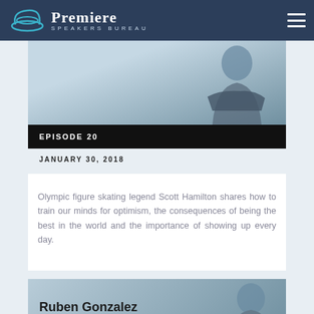Premiere Speakers Bureau
[Figure (photo): Speaker photo (Scott Hamilton) with blue-tinted background]
EPISODE 20
JANUARY 30, 2018
Olympic figure skating legend Scott Hamilton shares how to train our minds for optimism, the consequences of being the best in the world and the importance of showing up every day.
[Figure (photo): Ruben Gonzalez speaker photo with blue-tinted background]
Ruben Gonzalez